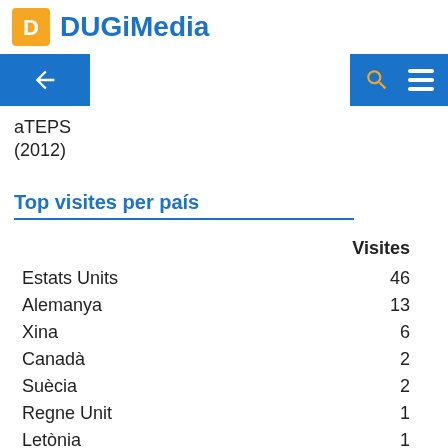DUGiMedia
aTEPS
(2012)
Top visites per país
|  | Visites |
| --- | --- |
| Estats Units | 46 |
| Alemanya | 13 |
| Xina | 6 |
| Canadà | 2 |
| Suècia | 2 |
| Regne Unit | 1 |
| Letònia | 1 |